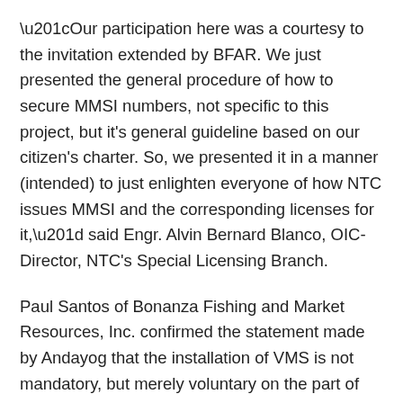“Our participation here was a courtesy to the invitation extended by BFAR. We just presented the general procedure of how to secure MMSI numbers, not specific to this project, but it’s general guideline based on our citizen’s charter. So, we presented it in a manner (intended) to just enlighten everyone of how NTC issues MMSI and the corresponding licenses for it,” said Engr. Alvin Bernard Blanco, OIC-Director, NTC’s Special Licensing Branch.
Paul Santos of Bonanza Fishing and Market Resources, Inc. confirmed the statement made by Andayog that the installation of VMS is not mandatory, but merely voluntary on the part of the owners and operators of the commercial fishing vessels.
Prior to the presentation by the NTC, Santos manifested that